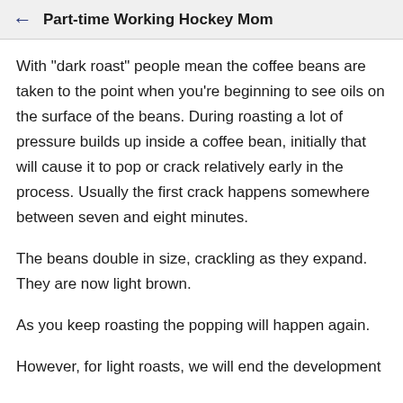Part-time Working Hockey Mom
With "dark roast" people mean the coffee beans are taken to the point when you're beginning to see oils on the surface of the beans. During roasting a lot of pressure builds up inside a coffee bean, initially that will cause it to pop or crack relatively early in the process. Usually the first crack happens somewhere between seven and eight minutes.
The beans double in size, crackling as they expand. They are now light brown.
As you keep roasting the popping will happen again.
However, for light roasts, we will end the development